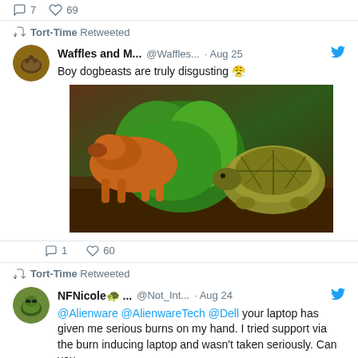7 replies, 69 likes
Tort-Time Retweeted
Waffles and M... @Waffles... · Aug 25
Boy dogbeasts are truly disgusting 😤
[Figure (photo): A dog and a tortoise facing each other among green plants on mulch]
1 reply, 60 likes
Tort-Time Retweeted
NFNicole 🐢 ... @Not_Int... · Aug 24
@Alienware @AlienwareTech @Dell your laptop has given me serious burns on my hand. I tried support via the burn inducing laptop and wasn't taken seriously. Can you